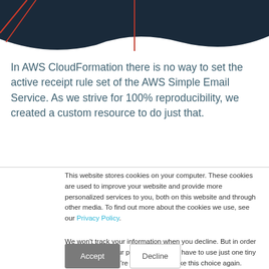[Figure (illustration): Dark navy decorative header banner with red diagonal lines on left and a vertical red line element in the center-top area]
In AWS CloudFormation there is no way to set the active receipt rule set of the AWS Simple Email Service. As we strive for 100% reproducibility, we created a custom resource to do just that.
This website stores cookies on your computer. These cookies are used to improve your website and provide more personalized services to you, both on this website and through other media. To find out more about the cookies we use, see our Privacy Policy.
We won't track your information when you decline. But in order to comply with your preferences, we'll have to use just one tiny cookie so that you're not asked to make this choice again.